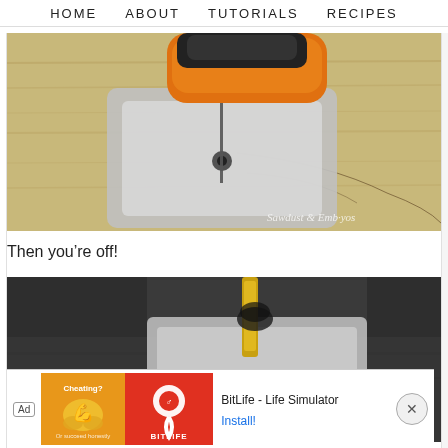HOME   ABOUT   TUTORIALS   RECIPES
[Figure (photo): Close-up of a jigsaw blade cutting into wood on a workbench, with orange handle visible at top. Watermark reads 'Sawdust & Embryos'.]
Then you're off!
[Figure (photo): Close-up of a jigsaw blade cutting through a dark material, with yellow blade tip and metal foot plate visible.]
[Figure (screenshot): Advertisement bar: Ad label, BitLife app icon with muscular arm graphic, red BitLife logo area, text 'BitLife - Life Simulator', Install button, and X close button.]